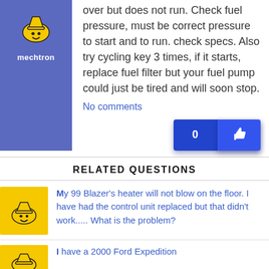[Figure (illustration): Blue avatar box with a cartoon mascot face icon and the username 'mechtron' below in white text]
over but does not run. Check fuel pressure, must be correct pressure to start and to run. check specs. Also try cycling key 3 times, if it starts, replace fuel filter but your fuel pump could just be tired and will soon stop.
No comments
RELATED QUESTIONS
My 99 Blazer's heater will not blow on the floor. I have had the control unit replaced but that didn't work..... What is the problem?
I have a 2000 Ford Expedition